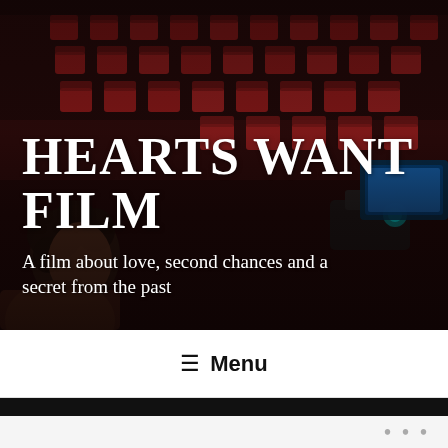[Figure (photo): Dark atmospheric photo of a movie theater interior with rows of red seats visible in the background, and a woman with curly hair visible on the left side of the image. The image is dimly lit with warm reddish tones.]
HEARTS WANT FILM
A film about love, second chances and a secret from the past
☰ Menu